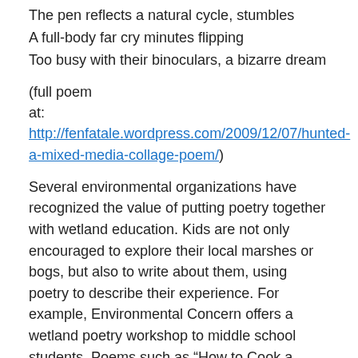The pen reflects a natural cycle, stumbles
A full-body far cry minutes flipping
Too busy with their binoculars, a bizarre dream
(full poem at: http://fenfatale.wordpress.com/2009/12/07/hunted-a-mixed-media-collage-poem/)
Several environmental organizations have recognized the value of putting poetry together with wetland education. Kids are not only encouraged to explore their local marshes or bogs, but also to write about them, using poetry to describe their experience. For example, Environmental Concern offers a wetland poetry workshop to middle school students. Poems such as “How to Cook a Roasted Swamp” by Kathleen and “Dreams of a Cattail” by Zach. (Last names aren’t provided on the website.)